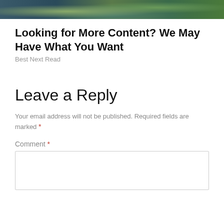[Figure (photo): Partial photo of a person outdoors with green foliage background, cropped at top]
Looking for More Content? We May Have What You Want
Best Next Read
Leave a Reply
Your email address will not be published. Required fields are marked *
Comment *